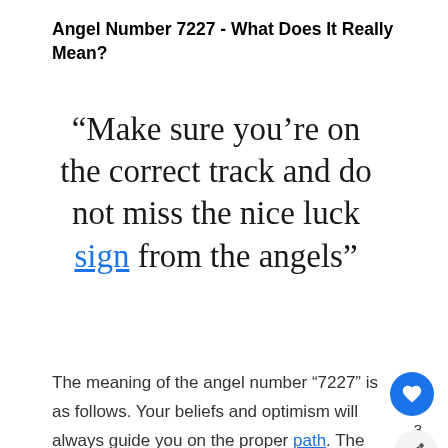Angel Number 7227 - What Does It Really Mean?
“Make sure you’re on the correct track and do not miss the nice luck sign from the angels”
The meaning of the angel number “7227” is as follows. Your beliefs and optimism will always guide you on the proper path. The angels are worried that their beliefs are weakening, so act to take care of positive energy.